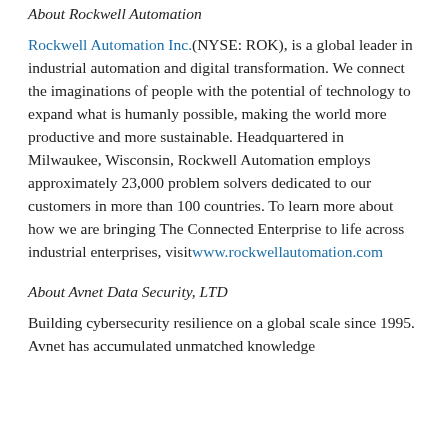About Rockwell Automation
Rockwell Automation Inc.(NYSE: ROK), is a global leader in industrial automation and digital transformation. We connect the imaginations of people with the potential of technology to expand what is humanly possible, making the world more productive and more sustainable. Headquartered in Milwaukee, Wisconsin, Rockwell Automation employs approximately 23,000 problem solvers dedicated to our customers in more than 100 countries. To learn more about how we are bringing The Connected Enterprise to life across industrial enterprises, visit www.rockwellautomation.com
About Avnet Data Security, LTD
Building cybersecurity resilience on a global scale since 1995. Avnet has accumulated unmatched knowledge